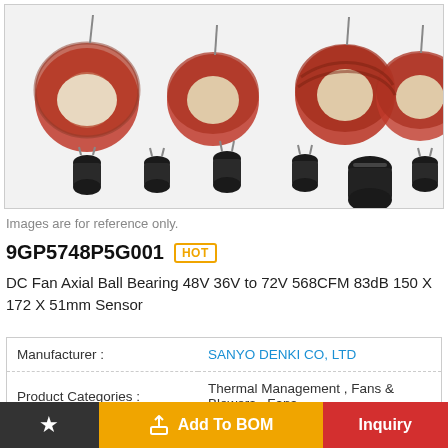[Figure (photo): Various electronic inductors and coils — toroidal red/copper wire wound cores in top row, small black cylindrical inductors in bottom row, on white background]
Images are for reference only.
9GP5748P5G001  HOT
DC Fan Axial Ball Bearing 48V 36V to 72V 568CFM 83dB 150 X 172 X 51mm Sensor
|  |  |
| --- | --- |
| Manufacturer : | SANYO DENKI CO, LTD |
| Product Categories : | Thermal Management , Fans & Blowers , Fans |